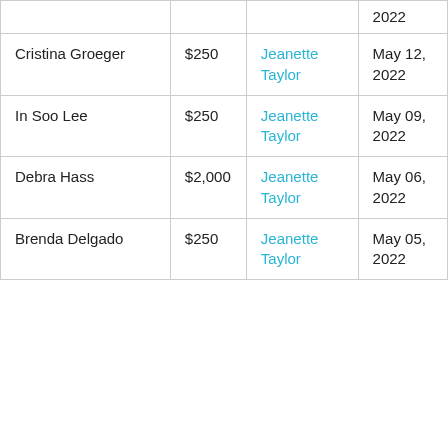|  |  |  | 2022 |
| Cristina Groeger | $250 | Jeanette Taylor | May 12, 2022 |
| In Soo Lee | $250 | Jeanette Taylor | May 09, 2022 |
| Debra Hass | $2,000 | Jeanette Taylor | May 06, 2022 |
| Brenda Delgado | $250 | Jeanette Taylor | May 05, 2022 |